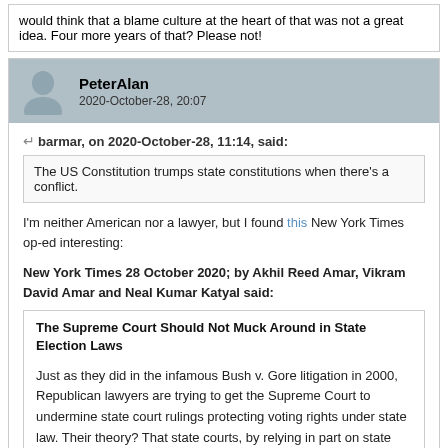would think that a blame culture at the heart of that was not a great idea. Four more years of that? Please not!
PeterAlan
2020-October-28, 20:07
barmar, on 2020-October-28, 11:14, said:
The US Constitution trumps state constitutions when there's a conflict.
I'm neither American nor a lawyer, but I found this New York Times op-ed interesting:
New York Times 28 October 2020; by Akhil Reed Amar, Vikram David Amar and Neal Kumar Katyal said:
The Supreme Court Should Not Muck Around in State Election Laws
Just as they did in the infamous Bush v. Gore litigation in 2000, Republican lawyers are trying to get the Supreme Court to undermine state court rulings protecting voting rights under state law. Their theory? That state courts, by relying in part on state constitutions, are wrongly